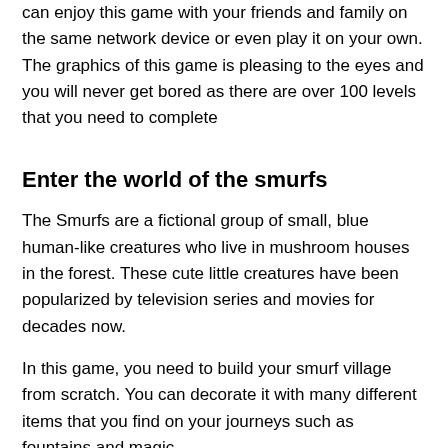can enjoy this game with your friends and family on the same network device or even play it on your own. The graphics of this game is pleasing to the eyes and you will never get bored as there are over 100 levels that you need to complete
Enter the world of the smurfs
The Smurfs are a fictional group of small, blue human-like creatures who live in mushroom houses in the forest. These cute little creatures have been popularized by television series and movies for decades now.
In this game, you need to build your smurf village from scratch. You can decorate it with many different items that you find on your journeys such as fountains and magic